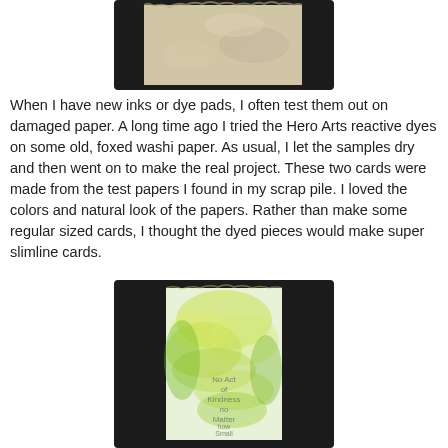[Figure (photo): A photograph of a piece of washi paper with Hero Arts reactive dyes applied, showing muted warm tones, mounted on a dark/black background.]
When I have new inks or dye pads, I often test them out on damaged paper.  A long time ago I tried the Hero Arts reactive dyes on some old, foxed washi paper.  As usual, I let the samples dry and then went on to make the real project.  These two cards were made from the test papers I found in my scrap pile.  I loved the colors and natural look of the papers.  Rather than make some regular sized cards, I thought the dyed pieces would make super slimline cards.
[Figure (photo): A photograph of a tall narrow slimline card made from dyed washi paper with green and yellow reactive dyes, with stamped text reading 'No Act of Kindness no Matter how Small is Wasted', mounted on a dark/black background.]